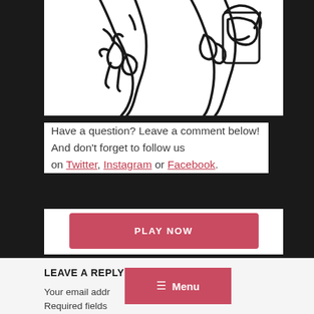[Figure (illustration): Hand-drawn illustration showing two figures, partially cropped — line art style with black strokes on white background, visible at upper portion of the page.]
Have a question? Leave a comment below! And don't forget to follow us on Twitter, Instagram or Facebook.
PLAY NOW
LEAVE A REPLY
Your email address will not be published. Required fields
☰ Menu